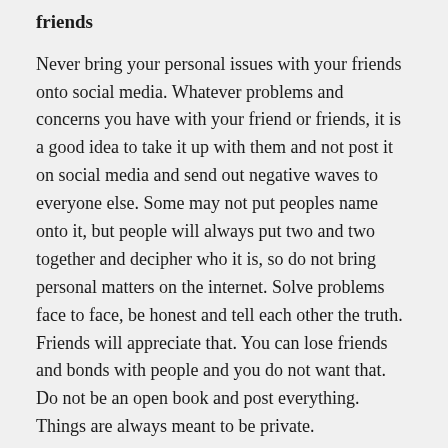friends
Never bring your personal issues with your friends onto social media. Whatever problems and concerns you have with your friend or friends, it is a good idea to take it up with them and not post it on social media and send out negative waves to everyone else. Some may not put peoples name onto it, but people will always put two and two together and decipher who it is, so do not bring personal matters on the internet. Solve problems face to face, be honest and tell each other the truth. Friends will appreciate that. You can lose friends and bonds with people and you do not want that. Do not be an open book and post everything. Things are always meant to be private.
4. Not delivering what you promise your readers
When you say you will be writing an article, or bringing